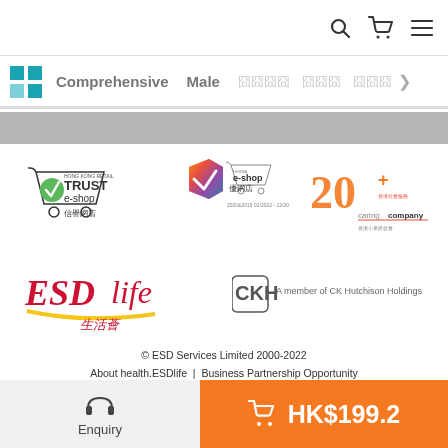Search | Cart | Menu
Comprehensive | Male | 四個字 | 三字 | 三字 >
[Figure (logo): HKRMA TRUST e-shop 信譽網店 logo]
[Figure (logo): HKRMA e-shop 優網店 2020-2019 01/2022-12/2022 logo]
[Figure (logo): 20+ years Caring Company logo]
[Figure (logo): ESDlife 生活薈 logo]
[Figure (logo): CK Hutchison Holdings - A member of CK Hutchison Holdings]
© ESD Services Limited 2000-2022
About health.ESDlife | Business Partnership Opportunity | Contact Us | Join Us | Terms & Conditions | Privacy Policy | Disclaimer
Under ESD Services Limited:Wedding | Anniversary | Family | healthyD | health.ESDlife | Digital Solutions
Enquiry
HK$199.2